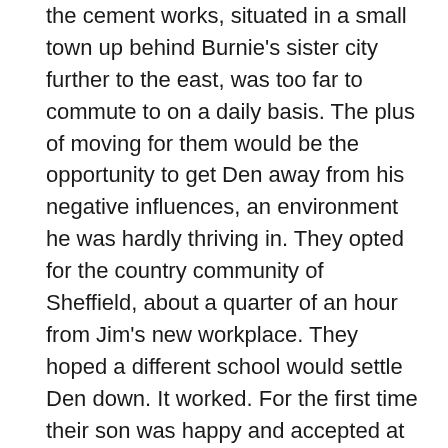the cement works, situated in a small town up behind Burnie's sister city further to the east, was too far to commute to on a daily basis. The plus of moving for them would be the opportunity to get Den away from his negative influences, an environment he was hardly thriving in. They opted for the country community of Sheffield, about a quarter of an hour from Jim's new workplace. They hoped a different school would settle Den down. It worked. For the first time their son was happy and accepted at his school. The smaller classes, rural situation and emphasis on the practical, as much as the academic, suited him. He loved the school farm, especially working on the tractor and agricultural machinery. He'd found a niche he was comfortable with and one those around him could accept him in. The kids were far less judgemental here than their big town neighbours and he finally found some friends who wouldn't lead him up the garden path. He was still on the shy side, but at least he was smiling more now – laughing even. By the time Grade 10 came around he seemed